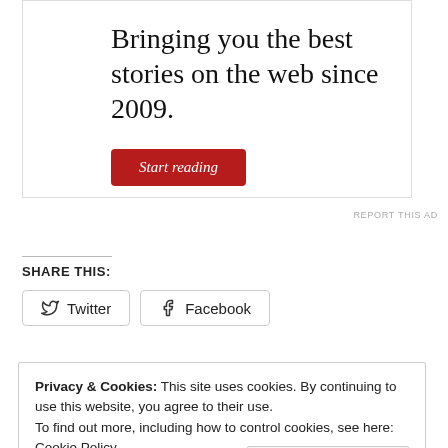Bringing you the best stories on the web since 2009.
Start reading
REPORT THIS AD
SHARE THIS:
Twitter
Facebook
Privacy & Cookies: This site uses cookies. By continuing to use this website, you agree to their use.
To find out more, including how to control cookies, see here: Cookie Policy
Close and accept